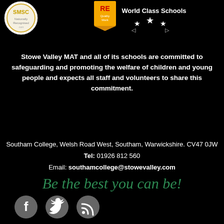[Figure (logo): SMSC award badge (circular logo with gold/silver design)]
[Figure (logo): RE Quality Mark and World Class Schools badge with stars]
Stowe Valley MAT and all of its schools are committed to safeguarding and promoting the welfare of children and young people and expects all staff and volunteers to share this commitment.
Southam College, Welsh Road West, Southam, Warwickshire. CV47 0JW Tel: 01926 812 560
Email: southamcollege@stowevalley.com
Be the best you can be!
[Figure (illustration): Three social media icons: Facebook (f), Twitter (bird), RSS feed — all grey circular buttons]